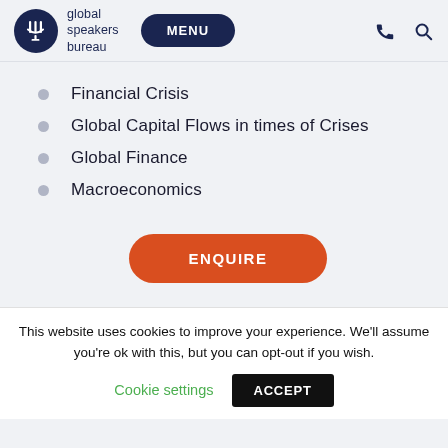global speakers bureau | MENU
Financial Crisis
Global Capital Flows in times of Crises
Global Finance
Macroeconomics
ENQUIRE
This website uses cookies to improve your experience. We'll assume you're ok with this, but you can opt-out if you wish.
Cookie settings  ACCEPT